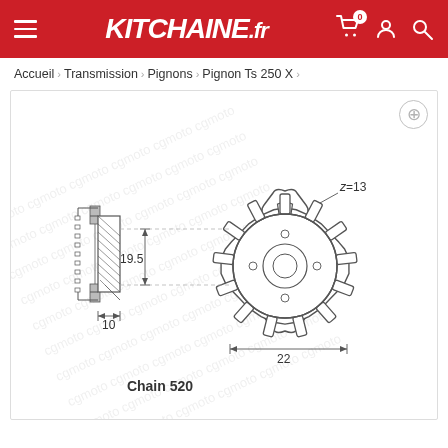KITCHAINE.fr
Accueil > Transmission > Pignons > Pignon Ts 250 X >
[Figure (engineering-diagram): Front sprocket engineering schematic showing side view of shaft and splined hub (left) and front view of 13-tooth sprocket (right). Dimensions labeled: 19.5 (width of hub section), 10 (shaft length), 22 (sprocket width). Tooth count labeled z=13. Text 'Chain 520' below. Watermark 'cgmoto' repeated across image.]